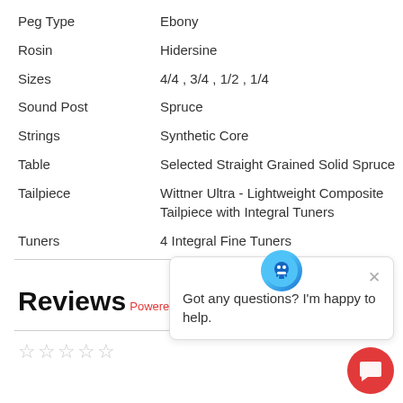| Peg Type | Ebony |
| Rosin | Hidersine |
| Sizes | 4/4 , 3/4 , 1/2 , 1/4 |
| Sound Post | Spruce |
| Strings | Synthetic Core |
| Table | Selected Straight Grained Solid Spruce |
| Tailpiece | Wittner Ultra - Lightweight Composite Tailpiece with Integral Tuners |
| Tuners | 4 Integral Fine Tuners |
Reviews
Powered by YOTPO.
[Figure (other): Chat popup with robot icon. Text: Got any questions? I'm happy to help.]
[Figure (other): Five empty star rating icons]
[Figure (other): Red circular chat bubble button in bottom right]